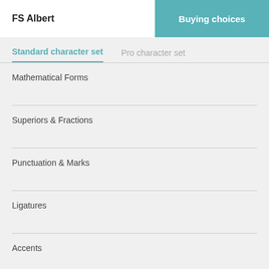FS Albert
Buying choices
Standard character set
Pro character set
Mathematical Forms
Superiors & Fractions
Punctuation & Marks
Ligatures
Accents